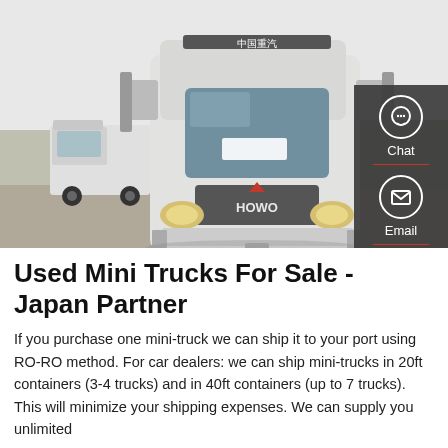[Figure (photo): Front view of a white HOWO heavy truck parked outdoors, with another white truck visible to the left, trees and a wall in the background. Dark gray sidebar with Chat, Email, and Contact icons overlaid on the right side.]
Used Mini Trucks For Sale - Japan Partner
If you purchase one mini-truck we can ship it to your port using RO-RO method. For car dealers: we can ship mini-trucks in 20ft containers (3-4 trucks) and in 40ft containers (up to 7 trucks). This will minimize your shipping expenses. We can supply you unlimited